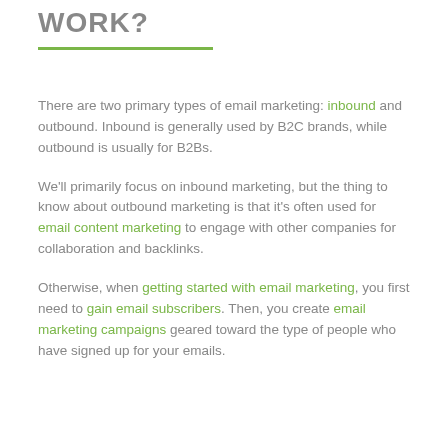WORK?
There are two primary types of email marketing: inbound and outbound. Inbound is generally used by B2C brands, while outbound is usually for B2Bs.
We'll primarily focus on inbound marketing, but the thing to know about outbound marketing is that it's often used for email content marketing to engage with other companies for collaboration and backlinks.
Otherwise, when getting started with email marketing, you first need to gain email subscribers. Then, you create email marketing campaigns geared toward the type of people who have signed up for your emails.